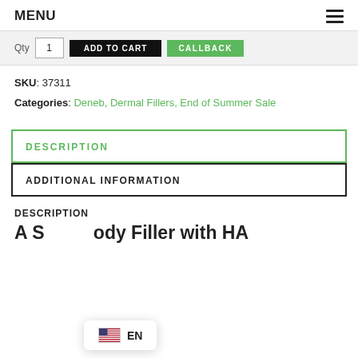MENU
[Figure (screenshot): E-commerce cart bar with Qty field showing 1, ADD TO CART black button, and CALLBACK green button]
SKU: 37311
Categories: Deneb, Dermal Fillers, End of Summer Sale
DESCRIPTION
ADDITIONAL INFORMATION
DESCRIPTION
A S…ody Filler with HA